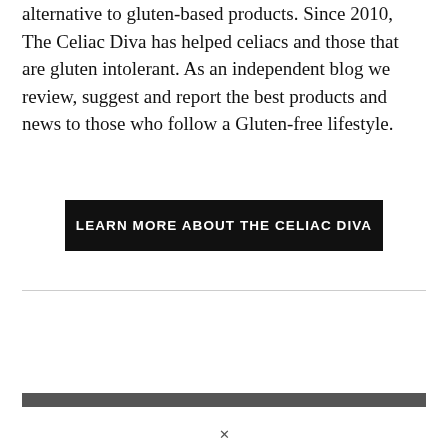alternative to gluten-based products. Since 2010, The Celiac Diva has helped celiacs and those that are gluten intolerant. As an independent blog we review, suggest and report the best products and news to those who follow a Gluten-free lifestyle.
LEARN MORE ABOUT THE CELIAC DIVA